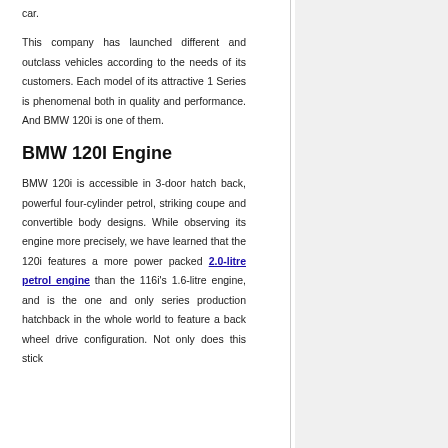car.
This company has launched different and outclass vehicles according to the needs of its customers. Each model of its attractive 1 Series is phenomenal both in quality and performance. And BMW 120i is one of them.
BMW 120I Engine
BMW 120i is accessible in 3-door hatch back, powerful four-cylinder petrol, striking coupe and convertible body designs. While observing its engine more precisely, we have learned that the 120i features a more power packed 2.0-litre petrol engine than the 116i's 1.6-litre engine, and is the one and only series production hatchback in the whole world to feature a back wheel drive configuration. Not only does this stick